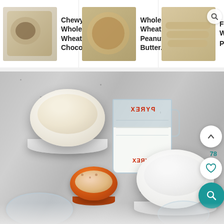[Figure (screenshot): Website navigation bar showing three recipe thumbnail links: 'Chewy Whole Wheat Chocolate...', 'Whole Wheat Peanut Butter...', and 'Fluffy Wh... Pancakes' with a search icon overlay]
[Figure (photo): Overhead photo of baking ingredients on a granite countertop: a bowl of whole wheat flour (left), a Pyrex measuring cup with milk, a bowl of all-purpose flour (right), a small decorative orange bowl with baking powder/spice, a clear glass bowl in the bottom left, and another clear bowl partially visible at bottom right. UI overlay elements include a white up-arrow button, a like count of 78, a white heart button, and a teal search button.]